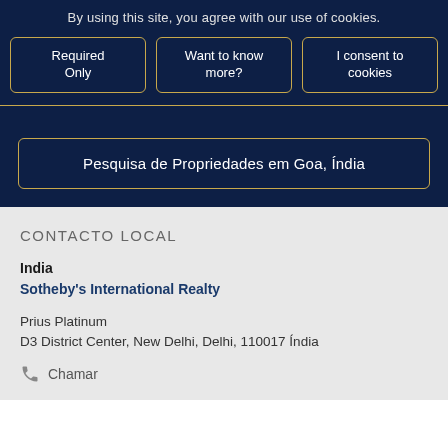By using this site, you agree with our use of cookies.
Required Only
Want to know more?
I consent to cookies
Pesquisa de Propriedades em Goa, Índia
CONTACTO LOCAL
India
Sotheby's International Realty
Prius Platinum
D3 District Center, New Delhi, Delhi, 110017 Índia
Chamar